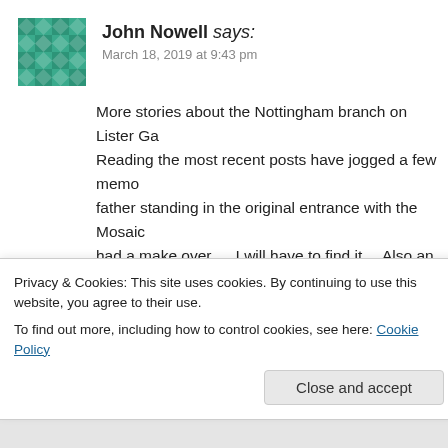[Figure (illustration): Green/teal geometric mosaic avatar icon for user John Nowell]
John Nowell says:
March 18, 2019 at 9:43 pm
More stories about the Nottingham branch on Lister Ga… Reading the most recent posts have jogged a few memo… father standing in the original entrance with the Mosaic… had a make over…. I will have to find it….Also an im… when everything that was being sold was on view……. with a little office…..to get to the staffroom there were room was very primitive with just a table and chairs…s… the lift going up to the floors above us.
There was a side entrance to get to the upstairs floors b… whole building.
Privacy & Cookies: This site uses cookies. By continuing to use this website, you agree to their use.
To find out more, including how to control cookies, see here: Cookie Policy
Close and accept